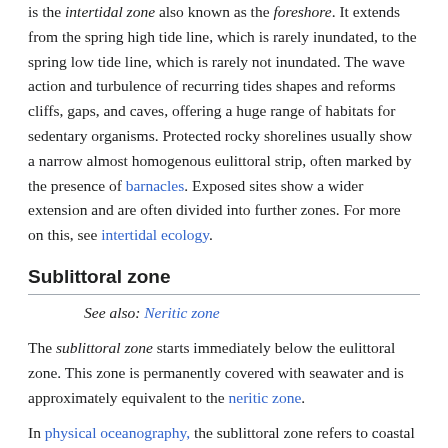is the intertidal zone also known as the foreshore. It extends from the spring high tide line, which is rarely inundated, to the spring low tide line, which is rarely not inundated. The wave action and turbulence of recurring tides shapes and reforms cliffs, gaps, and caves, offering a huge range of habitats for sedentary organisms. Protected rocky shorelines usually show a narrow almost homogenous eulittoral strip, often marked by the presence of barnacles. Exposed sites show a wider extension and are often divided into further zones. For more on this, see intertidal ecology.
Sublittoral zone
See also: Neritic zone
The sublittoral zone starts immediately below the eulittoral zone. This zone is permanently covered with seawater and is approximately equivalent to the neritic zone.
In physical oceanography, the sublittoral zone refers to coastal regions with significant tidal flows and energy dissipation, including non-linear flows, internal waves, river outflows and oceanic fronts. In practice, this typically extends to the edge of the continental